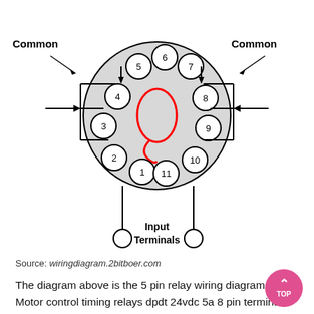[Figure (engineering-diagram): 11-pin relay socket wiring diagram showing numbered terminals (1-11) arranged in a circle with a red coil symbol in the center. 'Common' labels on left and right sides with arrows indicating common terminal connections. 'Input Terminals' label at the bottom with two circular terminal indicators.]
Source: wiringdiagram.2bitboer.com
The diagram above is the 5 pin relay wiring diagram. Motor control timing relays dpdt 24vdc 5a 8 pin terminals relay technical data 10ff 3z c3 hongfa europe gmbh socket for use with hf10ff hf10fh series 11 din rail 250v ac 923 2603 rs components fwsc cover c wiring diagram vs 5 3 pole rse3 elecdirect eaton cutler